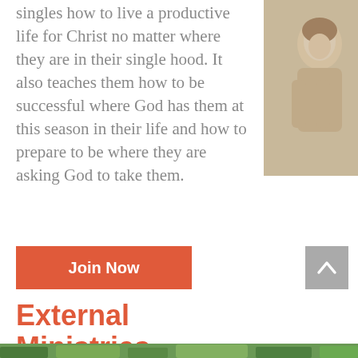singles how to live a productive life for Christ no matter where they are in their single hood. It also teaches them how to be successful where God has them at this season in their life and how to prepare to be where they are asking God to take them.
[Figure (photo): Partial photo of a person in the upper right corner of the page]
Join Now
External Ministries
[Figure (photo): Partial outdoor photo with greenery at the bottom of the page]